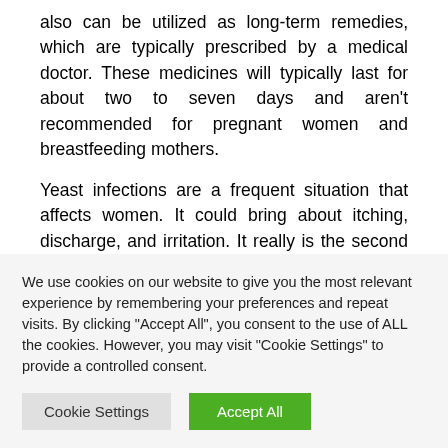also can be utilized as long-term remedies, which are typically prescribed by a medical doctor. These medicines will typically last for about two to seven days and aren't recommended for pregnant women and breastfeeding mothers.
Yeast infections are a frequent situation that affects women. It could bring about itching, discharge, and irritation. It really is the second most typical type of vaginitis and impacts more than a single million women
We use cookies on our website to give you the most relevant experience by remembering your preferences and repeat visits. By clicking "Accept All", you consent to the use of ALL the cookies. However, you may visit "Cookie Settings" to provide a controlled consent.